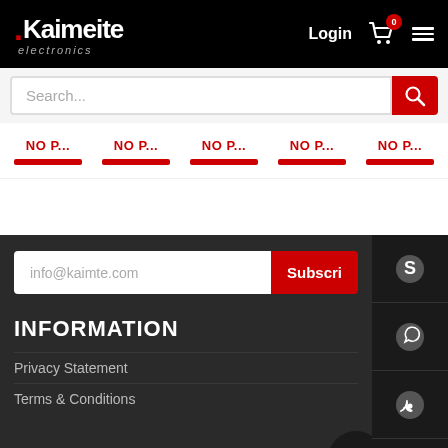[Figure (screenshot): Kaimeite Electronics website header with logo, Login, cart icon with 0 badge, and hamburger menu on black background]
[Figure (screenshot): Search bar with placeholder text 'Search...' and red search button]
[Figure (screenshot): Product row with 5 items labeled 'NO P...' in red with red bars below]
[Figure (screenshot): Dark sidebar with Skype, WhatsApp, phone, email icons and QR code]
[Figure (screenshot): Email subscription field showing 'info@kaimte.com' with red Subscribe button]
INFORMATION
Privacy Statement
Terms & Conditions